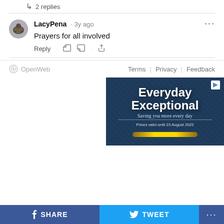↳ 2 replies
LacyPena · 3y ago
Prayers for all involved
Reply · 👍 👎 · ↑
OpenWeb    Terms | Privacy | Feedback
[Figure (screenshot): Advertisement with dark blue textured background. Large white bold text reads 'Everyday Exceptional'. Cursive text below reads 'Saving you more every day'. Small text reads 'Prices valid until 23 August 2022'. Gold bar at bottom.]
SHARE   TWEET   •••